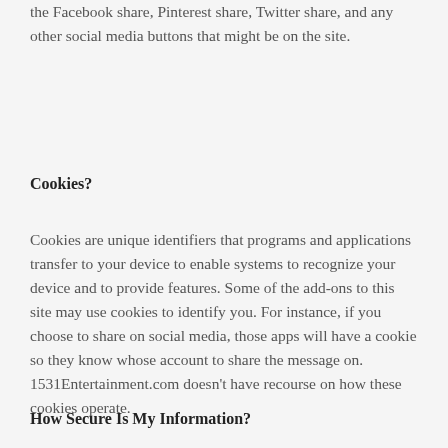the Facebook share, Pinterest share, Twitter share, and any other social media buttons that might be on the site.
Cookies?
Cookies are unique identifiers that programs and applications transfer to your device to enable systems to recognize your device and to provide features. Some of the add-ons to this site may use cookies to identify you. For instance, if you choose to share on social media, those apps will have a cookie so they know whose account to share the message on. 1531Entertainment.com doesn't have recourse on how these cookies operate.
How Secure Is My Information?